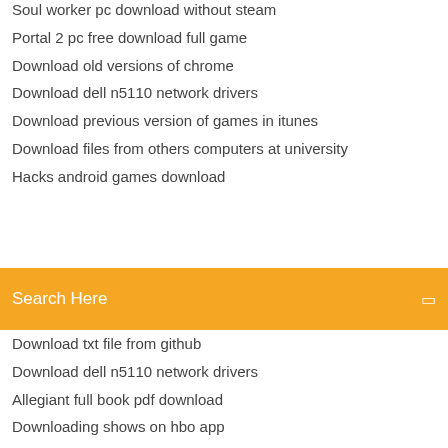Soul worker pc download without steam
Portal 2 pc free download full game
Download old versions of chrome
Download dell n5110 network drivers
Download previous version of games in itunes
Download files from others computers at university
Hacks android games download
[Figure (screenshot): Orange search bar with text 'Search Here' and a search icon on the right]
Download txt file from github
Download dell n5110 network drivers
Allegiant full book pdf download
Downloading shows on hbo app
Mistress reik mp4 download
Canon inkjet printer driver download
Birthday animated gifs download
File downloading process assemble
Savarese omt pdf download
Homesafe view app download